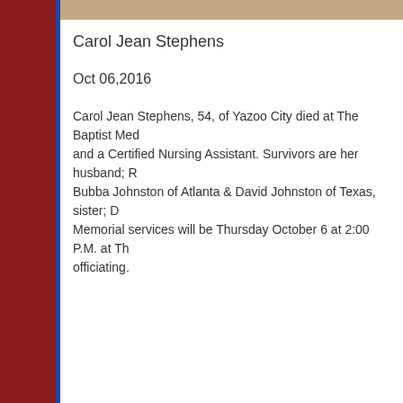Carol Jean Stephens
Oct 06,2016
Carol Jean Stephens, 54, of Yazoo City died at The Baptist Medical Center. She was a Certified Nursing Assistant. Survivors are her husband; R... Bubba Johnston of Atlanta & David Johnston of Texas, sister; D... Memorial services will be Thursday October 6 at 2:00 P.M. at Th... officiating.
Juanita Waltman Fulgham
Sep 27,2016
Juanita Waltman Fulgham was born June 12, 1929, in Copiah C... husband, Charles "Blackie" Fulgham was loved by her many fa... married 66 years on October 28, 2016. Juanita was an active m... talents. Juanita was a business woman having owned a dress s... loved to travel to foreign countries and around the United States... many happy times in Branson, Missouri. Juanita was preceded...